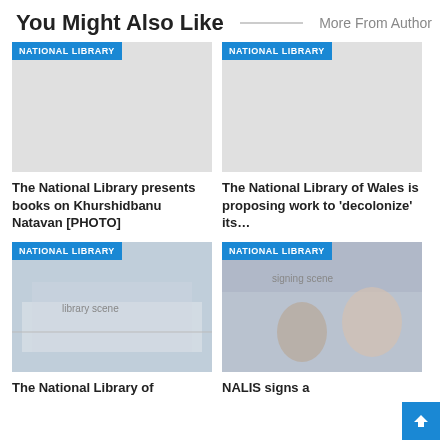You Might Also Like
More From Author
[Figure (photo): Placeholder image with NATIONAL LIBRARY badge — card 1 (no photo)]
[Figure (photo): Placeholder image with NATIONAL LIBRARY badge — card 2 (no photo)]
The National Library presents books on Khurshidbanu Natavan [PHOTO]
The National Library of Wales is proposing work to 'decolonize' its…
[Figure (photo): Children in a library setting at tables with large windows — NATIONAL LIBRARY badge]
[Figure (photo): People signing a document at a table, officials standing — NATIONAL LIBRARY badge]
The National Library of
NALIS signs a